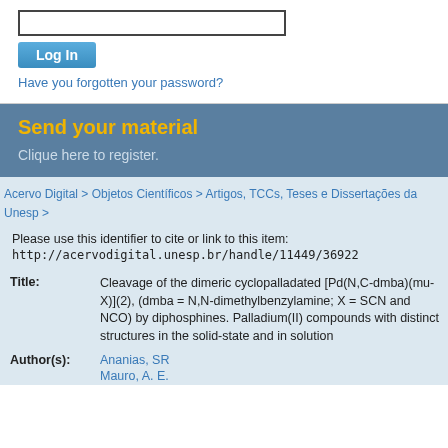[Figure (screenshot): Login input field (text box) and Log In button with 'Have you forgotten your password?' link below]
Send your material
Clique here to register.
Acervo Digital > Objetos Científicos > Artigos, TCCs, Teses e Dissertações da Unesp >
Please use this identifier to cite or link to this item:
http://acervodigital.unesp.br/handle/11449/36922
| Field | Value |
| --- | --- |
| Title: | Cleavage of the dimeric cyclopalladated [Pd(N,C-dmba)(mu-X)](2), (dmba = N,N-dimethylbenzylamine; X = SCN and NCO) by diphosphines. Palladium(II) compounds with distinct structures in the solid-state and in solution |
| Author(s): | Ananias, SR
Mauro, A. E. |